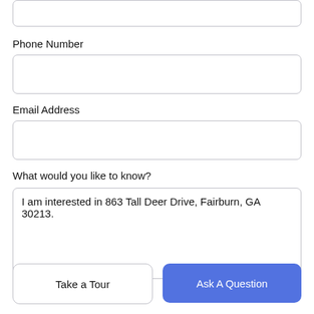Phone Number
Email Address
What would you like to know?
I am interested in 863 Tall Deer Drive, Fairburn, GA 30213.
Take a Tour
Ask A Question